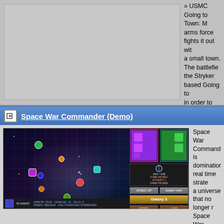[Figure (screenshot): Gray placeholder image area for a game screenshot]
» USMC Going to Town: M arms force fights it out with a small town. The battlefield the Stryker based Going to in order to highlight the diff the units in each.
Author Site
» Author: dtd. 09.01.2009
» Size 311.85 MB; Needed download 681,40179 Min w
» Total Hits: 627
» Rating: 2.2 at 5 Votes
Space War Commander (Demo)
[Figure (screenshot): Space War Commander game screenshot showing a space battle with grid overlay, unit cards (purple and green), HUD with timer and attempt info, Galaxy 3 button, and treasury bar at bottom.]
Space War Commander is domination real time strate a universe that no longer r Space War Commander cl defeat the destroyers of m creative strategy. Now you galaxies with the power of Defeat pirates, mercenarie with your hand-picked forc ships, Scavengers and mo blockades, command surp disrupt enemy plans, play against another, and crush an uncountable number of creative strategies.
Author Site
» Author: dtd. 01.01.2009